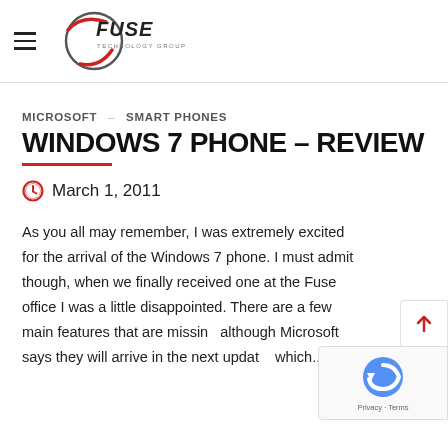FUSE Technology Group
MICROSOFT – SMART PHONES
WINDOWS 7 PHONE – REVIEW
March 1, 2011
As you all may remember, I was extremely excited for the arrival of the Windows 7 phone. I must admit though, when we finally received one at the Fuse office I was a little disappointed. There are a few main features that are missing, although Microsoft says they will arrive in the next update, which...